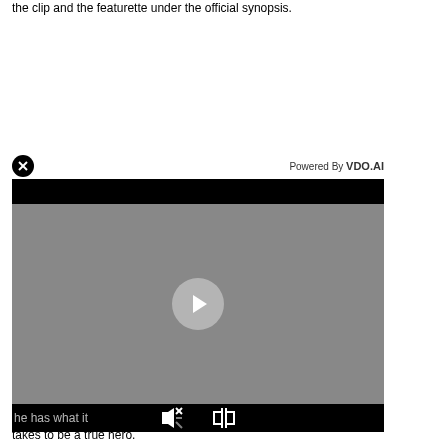the clip and the featurette under the official synopsis.
[Figure (screenshot): Video player overlay with VDO.AI branding, close button (X), play button, mute and fullscreen controls on black bars, gray video area]
he has what it takes to be a true hero.